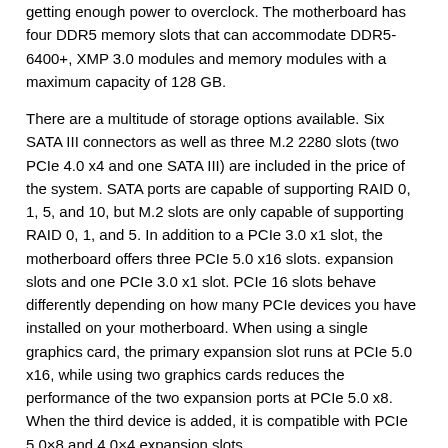getting enough power to overclock. The motherboard has four DDR5 memory slots that can accommodate DDR5-6400+, XMP 3.0 modules and memory modules with a maximum capacity of 128 GB.
There are a multitude of storage options available. Six SATA III connectors as well as three M.2 2280 slots (two PCIe 4.0 x4 and one SATA III) are included in the price of the system. SATA ports are capable of supporting RAID 0, 1, 5, and 10, but M.2 slots are only capable of supporting RAID 0, 1, and 5. In addition to a PCIe 3.0 x1 slot, the motherboard offers three PCIe 5.0 x16 slots. expansion slots and one PCIe 3.0 x1 slot. PCIe 16 slots behave differently depending on how many PCIe devices you have installed on your motherboard. When using a single graphics card, the primary expansion slot runs at PCIe 5.0 x16, while using two graphics cards reduces the performance of the two expansion ports at PCIe 5.0 x8. When the third device is added, it is compatible with PCIe 5.0×8 and 4.0×4 expansion slots.